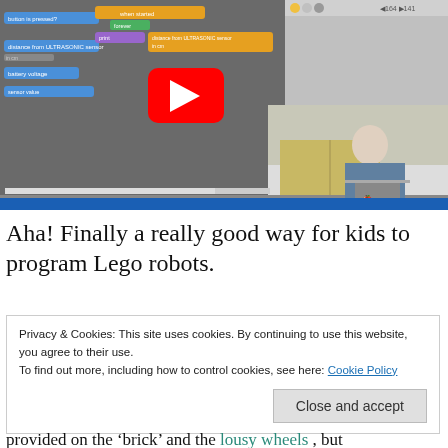[Figure (screenshot): YouTube video thumbnail showing a Scratch programming interface with colored code blocks on the left, a play button overlay in the center, and a person sitting at a laptop visible in the bottom-right corner. A blue bar appears at the bottom of the video.]
Aha! Finally a really good way for kids to program Lego robots.
Privacy & Cookies: This site uses cookies. By continuing to use this website, you agree to their use.
To find out more, including how to control cookies, see here: Cookie Policy
Close and accept
provided on the ‘brick’ and the lousy wheels , but